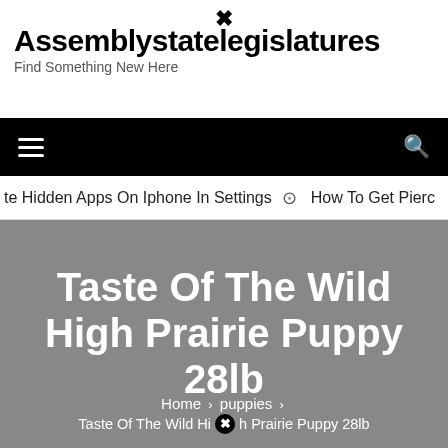Assemblystatelegislatures — Find Something New Here
Navigation bar with hamburger menu and search icon
te Hidden Apps On Iphone In Settings  ⊙  How To Get Pierc
Taste Of The Wild High Prairie Puppy 28lb
Home > puppies > Taste Of The Wild High Prairie Puppy 28lb